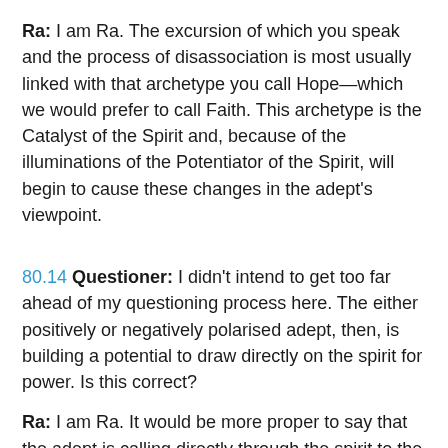Ra: I am Ra. The excursion of which you speak and the process of disassociation is most usually linked with that archetype you call Hope—which we would prefer to call Faith. This archetype is the Catalyst of the Spirit and, because of the illuminations of the Potentiator of the Spirit, will begin to cause these changes in the adept's viewpoint.
80.14 Questioner: I didn't intend to get too far ahead of my questioning process here. The either positively or negatively polarised adept, then, is building a potential to draw directly on the spirit for power. Is this correct?
Ra: I am Ra. It would be more proper to say that the adept is calling directly through the spirit to the universe for its power, for the spirit is a shuttle.
80.15 Questioner: Now, the obvious only